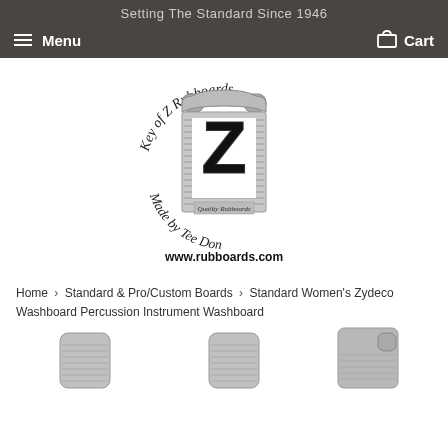Setting The Standard Since 1946
Menu   Cart
[Figure (logo): Key of Z Rubboards logo — rubboard shaped like a washboard with a bold Z, text reading 'Key of Z Rubboards', 'Made by Tee Don', 'Quality Rubboards', 'www.rubboards.com']
Home › Standard & Pro/Custom Boards › Standard Women's Zydeco Washboard Percussion Instrument Washboard
[Figure (photo): Three partial product photos of washboard percussion instruments at the bottom of the page]